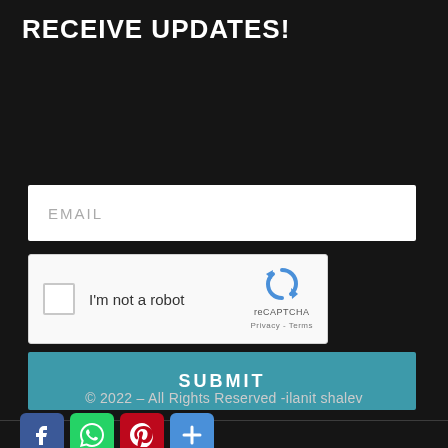RECEIVE UPDATES!
[Figure (screenshot): Email input field with placeholder text EMAIL on white background]
[Figure (screenshot): reCAPTCHA widget with checkbox labeled I'm not a robot and reCAPTCHA logo with Privacy - Terms links]
[Figure (screenshot): SUBMIT button in teal/blue color]
© 2022 - All Rights Reserved -ilanit shalev
[Figure (infographic): Social media share icons: Facebook (blue), WhatsApp (green), Pinterest (red), Plus/share (blue)]